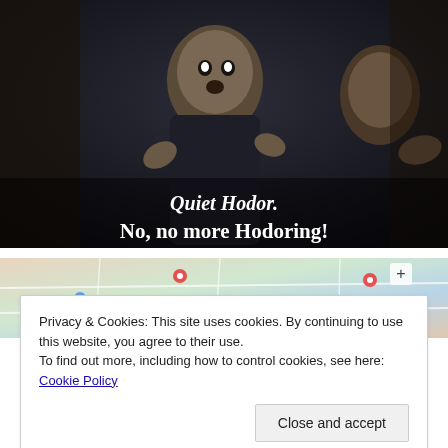[Figure (photo): Screenshot from Game of Thrones scene with two characters in a dark setting. Subtitle text reads: 'Quiet Hodor. No, no more Hodoring!']
[Figure (screenshot): Partial view of a colorful map with location pins and grid lines.]
Privacy & Cookies: This site uses cookies. By continuing to use this website, you agree to their use.
To find out more, including how to control cookies, see here: Cookie Policy